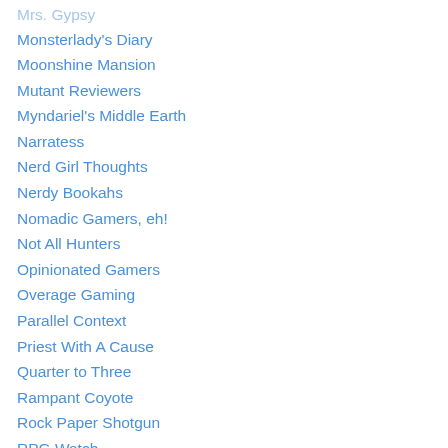Mrs. Gypsy
Monsterlady's Diary
Moonshine Mansion
Mutant Reviewers
Myndariel's Middle Earth
Narratess
Nerd Girl Thoughts
Nerdy Bookahs
Nomadic Gamers, eh!
Not All Hunters
Opinionated Gamers
Overage Gaming
Parallel Context
Priest With A Cause
Quarter to Three
Rampant Coyote
Rock Paper Shotgun
RPG Watch
Shadowz Abstract Gaming Blog
Shards of Imagination
Six Shooter (partial)